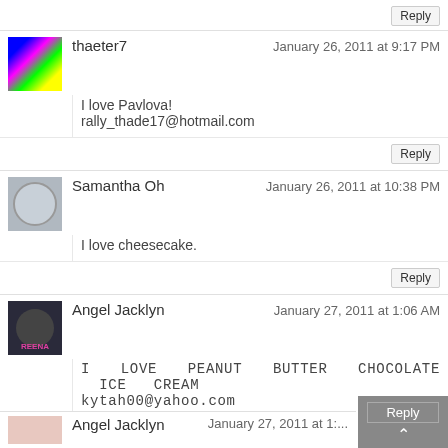Reply
thaeter7
January 26, 2011 at 9:17 PM
I love Pavlova!
rally_thade17@hotmail.com
Reply
Samantha Oh
January 26, 2011 at 10:38 PM
I love cheesecake.
Reply
Angel Jacklyn
January 27, 2011 at 1:06 AM
I LOVE PEANUT BUTTER CHOCOLATE ICE CREAM
kytah00@yahoo.com
Reply
Angel Jacklyn
January 27, 2011 at 1:...